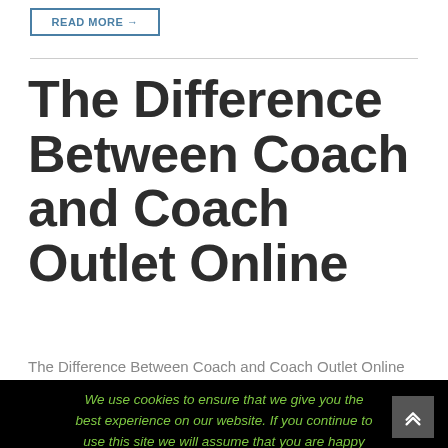READ MORE →
The Difference Between Coach and Coach Outlet Online
The Difference Between Coach and Coach Outlet Online
We use cookies to ensure that we give you the best experience on our website. If you continue to use this site we will assume that you are happy with it.
OK